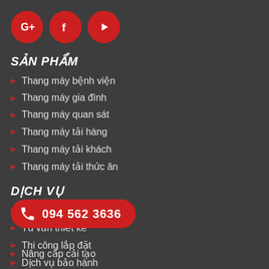[Figure (logo): Three red circular social media icons: Google+, Facebook, YouTube]
SẢN PHẨM
Thang máy bệnh viện
Thang máy gia đình
Thang máy quan sát
Thang máy tải hàng
Thang máy tải khách
Thang máy tải thức ăn
DỊCH VỤ
Khảo sát và báo giá
Tư vấn thiết kế
Thi công lắp đặt
Dịch vụ bảo hành
[Figure (other): Red pill-shaped phone button showing phone icon and number 094 562 3636]
Nâng cấp cải tạo